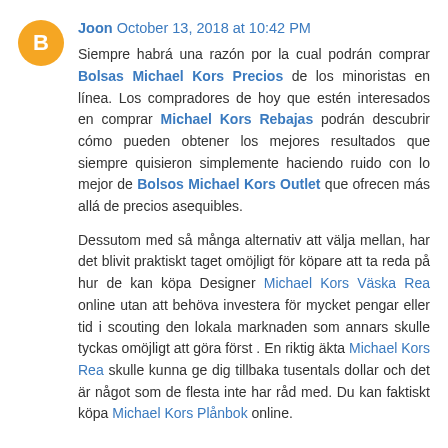Joon October 13, 2018 at 10:42 PM
Siempre habrá una razón por la cual podrán comprar Bolsas Michael Kors Precios de los minoristas en línea. Los compradores de hoy que estén interesados en comprar Michael Kors Rebajas podrán descubrir cómo pueden obtener los mejores resultados que siempre quisieron simplemente haciendo ruido con lo mejor de Bolsos Michael Kors Outlet que ofrecen más allá de precios asequibles.
Dessutom med så många alternativ att välja mellan, har det blivit praktiskt taget omöjligt för köpare att ta reda på hur de kan köpa Designer Michael Kors Väska Rea online utan att behöva investera för mycket pengar eller tid i scouting den lokala marknaden som annars skulle tyckas omöjligt att göra först . En riktig äkta Michael Kors Rea skulle kunna ge dig tillbaka tusentals dollar och det är något som de flesta inte har råd med. Du kan faktiskt köpa Michael Kors Plånbok online.